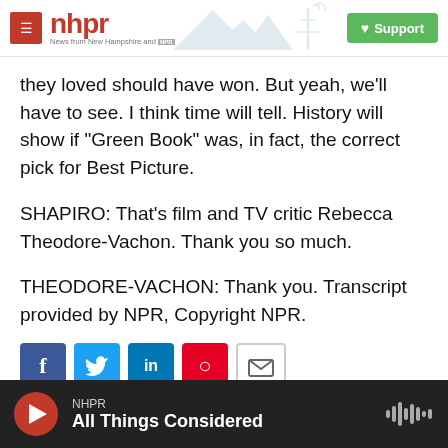nhpr - News from New Hampshire and NPR | Support
they loved should have won. But yeah, we'll have to see. I think time will tell. History will show if "Green Book" was, in fact, the correct pick for Best Picture.
SHAPIRO: That's film and TV critic Rebecca Theodore-Vachon. Thank you so much.
THEODORE-VACHON: Thank you. Transcript provided by NPR, Copyright NPR.
[Figure (screenshot): Social media sharing buttons: Facebook, Twitter, LinkedIn, Pinterest, Email]
NHPR All Things Considered - audio player bar